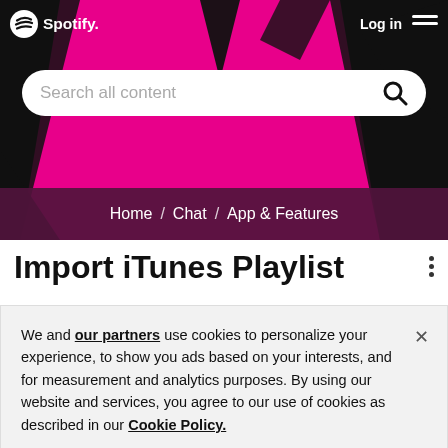[Figure (screenshot): Spotify website header with pink and black background, Spotify logo top left, Log in top right, search bar with 'Search all content' placeholder, breadcrumb navigation bar showing Home / Chat / App & Features]
Import iTunes Playlist
We and our partners use cookies to personalize your experience, to show you ads based on your interests, and for measurement and analytics purposes. By using our website and services, you agree to our use of cookies as described in our Cookie Policy.